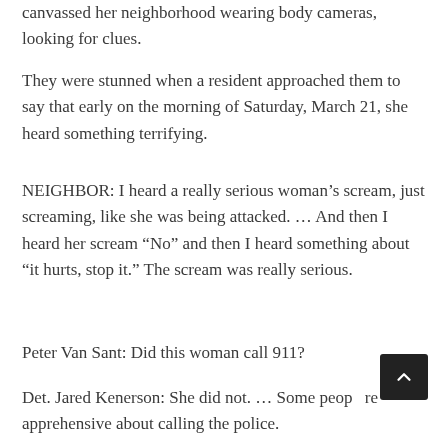canvassed her neighborhood wearing body cameras, looking for clues.
They were stunned when a resident approached them to say that early on the morning of Saturday, March 21, she heard something terrifying.
NEIGHBOR: I heard a really serious woman’s scream, just screaming, like she was being attacked. … And then I heard her scream “No” and then I heard something about “it hurts, stop it.” The scream was really serious.
Peter Van Sant: Did this woman call 911?
Det. Jared Kenerson: She did not. … Some people are apprehensive about calling the police.